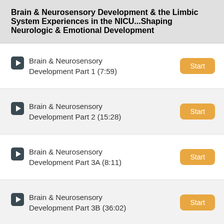Brain & Neurosensory Development & the Limbic System Experiences in the NICU...Shaping Neurologic & Emotional Development
Brain & Neurosensory Development Part 1 (7:59)
Brain & Neurosensory Development Part 2 (15:28)
Brain & Neurosensory Development Part 3A (8:11)
Brain & Neurosensory Development Part 3B (36:02)
Brain & Neurosensory Development Part 4 (14:49)